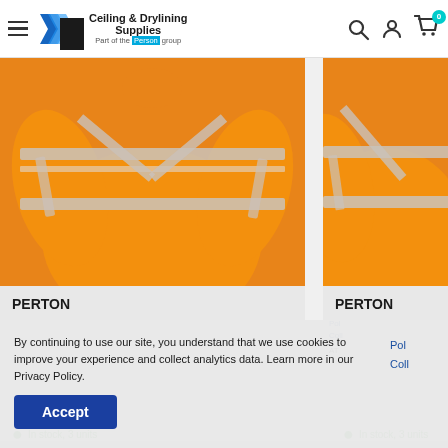Ceiling & Drylining Supplies — Part of the Person group
[Figure (photo): Orange high-visibility long-sleeve jacket with reflective strips, left product card]
PERTON
[Figure (photo): Orange high-visibility long-sleeve jacket with reflective strips, right product card]
PERTON
By continuing to use our site, you understand that we use cookies to improve your experience and collect analytics data. Learn more in our Privacy Policy.
Accept
In stock, 3 units
In stock, 3 units